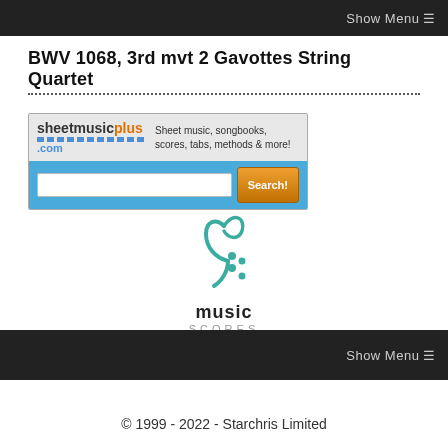Show Menu ≡
BWV 1068, 3rd mvt 2 Gavottes String Quartet
[Figure (screenshot): Sheet Music Plus advertisement with logo, tagline 'Sheet music, songbooks, scores, tabs, methods & more!' and a search bar with Search! button]
[Figure (logo): Music Scores logo with teal treble/bass clef icon and text 'music SCORES']
Show Menu ≡
© 1999 - 2022 - Starchris Limited